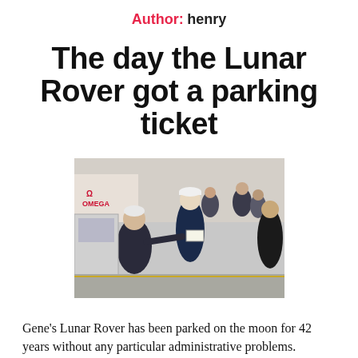Author: henry
The day the Lunar Rover got a parking ticket
[Figure (photo): A police officer or official in uniform handing a ticket or document to an elderly man seated near what appears to be a vehicle or display, with an Omega logo visible in the background and other people standing nearby on a city street.]
Gene's Lunar Rover has been parked on the moon for 42 years without any particular administrative problems.